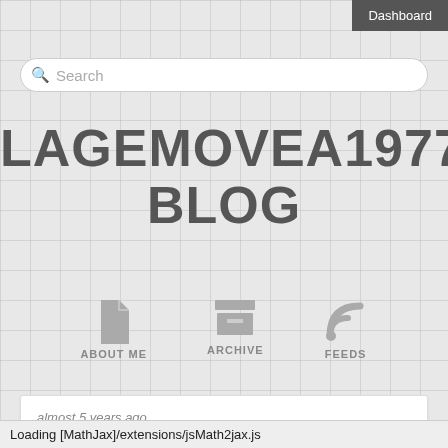Dashboard
Search
LAGEMOVEA1977'S BLOG
[Figure (infographic): Navigation icons: ABOUT ME (document icon), ARCHIVE (box icon), FEEDS (RSS icon)]
almost 5 years ago
Watch Kansas City v Cleveland livestream 17.09.2017
Looking for Watch Online Stream Kansas City vs Cleveland?
Nowhere couldn't find Watch Online Stream Kansas City vs
Loading [MathJax]/extensions/jsMath2jax.js